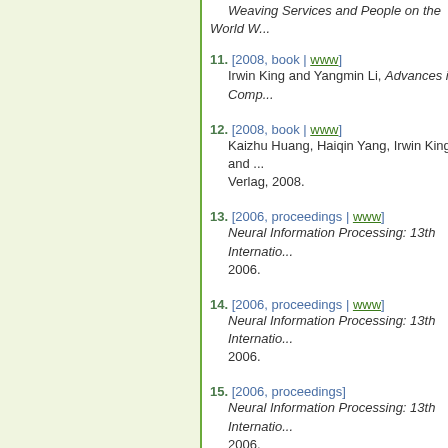Weaving Services and People on the World W...
11. [2008, book | www] Irwin King and Yangmin Li, Advances in Comp...
12. [2008, book | www] Kaizhu Huang, Haiqin Yang, Irwin King, and ... Verlag, 2008.
13. [2006, proceedings | www] Neural Information Processing: 13th Internatio... 2006.
14. [2006, proceedings | www] Neural Information Processing: 13th Internatio... 2006.
15. [2006, proceedings] Neural Information Processing: 13th Internatio... 2006.
16. [2004, proceedings | www] Poster Proceedings of the 11th World Wide We...